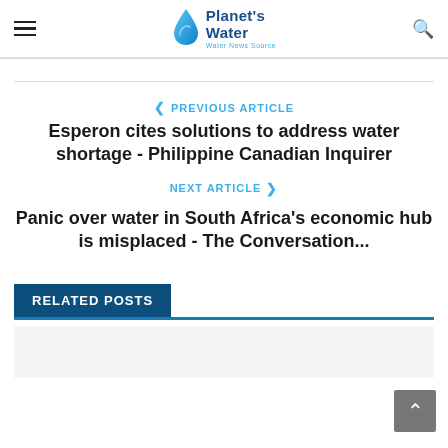Planet's Water - Water News Source
PREVIOUS ARTICLE
Esperon cites solutions to address water shortage - Philippine Canadian Inquirer
NEXT ARTICLE
Panic over water in South Africa's economic hub is misplaced - The Conversation...
RELATED POSTS